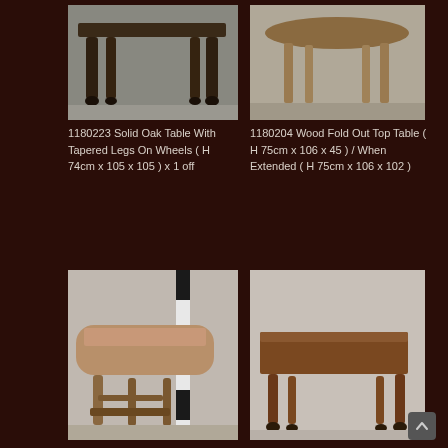[Figure (photo): Antique solid oak dining table with turned tapered legs on wheels, dark wood, photographed from the side]
[Figure (photo): Wooden fold-out top table with round/oval top and simple straight legs, light wood, photographed from the side]
1180223 Solid Oak Table With Tapered Legs On Wheels ( H 74cm x 105 x 105 ) x 1 off
1180204 Wood Fold Out Top Table ( H 75cm x 106 x 45 ) / When Extended ( H 75cm x 106 x 102 )
[Figure (photo): Antique gate-leg / drop-leaf table with barley-twist legs, medium oak, photographed open, with measuring pole visible]
[Figure (photo): Antique drop-leaf table with turned legs on casters, mahogany/dark wood, photographed closed from the side]